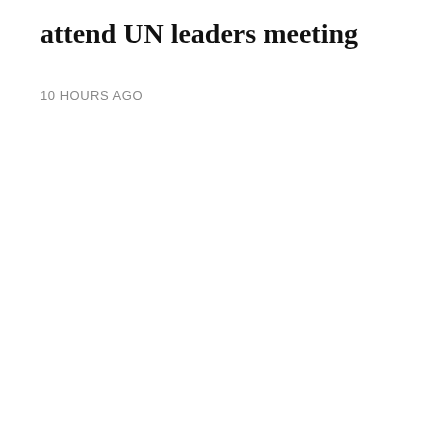attend UN leaders meeting
10 HOURS AGO